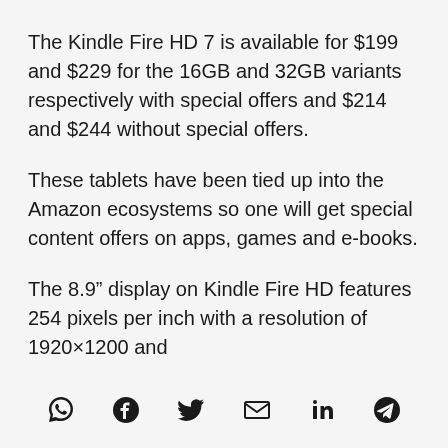The Kindle Fire HD 7 is available for $199 and $229 for the 16GB and 32GB variants respectively with special offers and $214 and $244 without special offers.
These tablets have been tied up into the Amazon ecosystems so one will get special content offers on apps, games and e-books.
The 8.9” display on Kindle Fire HD features 254 pixels per inch with a resolution of 1920×1200 and
[Figure (other): Row of social sharing icons: WhatsApp, Facebook, Twitter, Email, LinkedIn, Telegram]